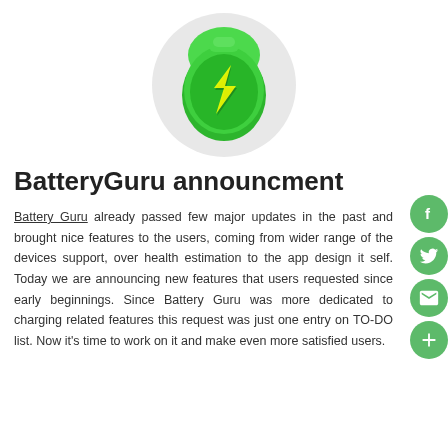[Figure (logo): BatteryGuru app logo: green battery/shield icon with lightning bolt on a light gray circular background]
BatteryGuru announcment
Battery Guru already passed few major updates in the past and brought nice features to the users, coming from wider range of the devices support, over health estimation to the app design it self. Today we are announcing new features that users requested since early beginnings. Since Battery Guru was more dedicated to charging related features this request was just one entry on TO-DO list. Now it's time to work on it and make even more satisfied users.